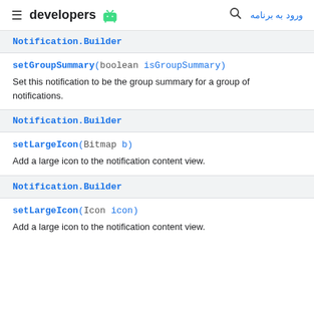developers | ورود به برنامه
Notification.Builder
setGroupSummary(boolean isGroupSummary)
Set this notification to be the group summary for a group of notifications.
Notification.Builder
setLargeIcon(Bitmap b)
Add a large icon to the notification content view.
Notification.Builder
setLargeIcon(Icon icon)
Add a large icon to the notification content view.